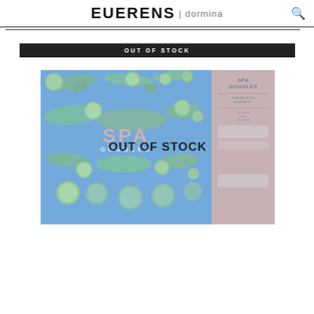EUERENS | dormina
OUT OF STOCK
[Figure (photo): Product image of Spa Goggles with blue background featuring cucumber and lime illustrations, with an 'OUT OF STOCK' overlay. Right side has a salmon/coral colored panel with product text.]
OUT OF STOCK